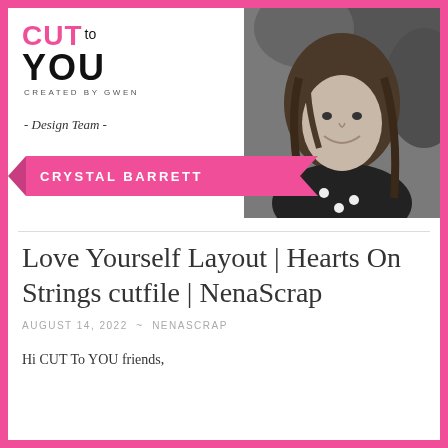[Figure (logo): CUT to YOU – CREATED BY GWEN logo in black and pink]
- Design Team -
[Figure (photo): Black and white headshot photo of Crystal Barrett, a woman with long hair smiling outdoors]
CRYSTAL BARRETT
Love Yourself Layout | Hearts On Strings cutfile | NenaScrap
AUGUST 14, 2022  ~  NENASCRAP
Hi CUT To YOU friends,